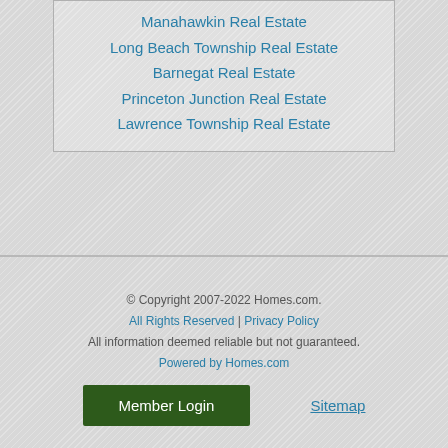Manahawkin Real Estate
Long Beach Township Real Estate
Barnegat Real Estate
Princeton Junction Real Estate
Lawrence Township Real Estate
© Copyright 2007-2022 Homes.com. All Rights Reserved | Privacy Policy All information deemed reliable but not guaranteed. Powered by Homes.com
Member Login | Sitemap